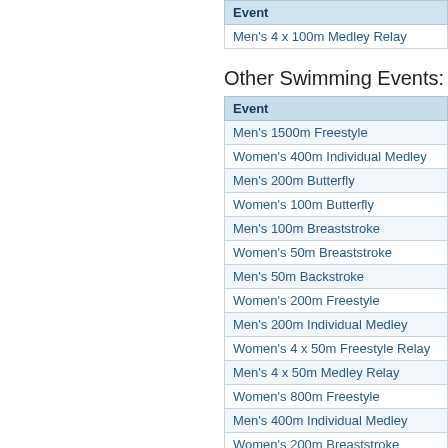| Event |
| --- |
| Men's 4 x 100m Medley Relay |
Other Swimming Events:
| Event |
| --- |
| Men's 1500m Freestyle |
| Women's 400m Individual Medley |
| Men's 200m Butterfly |
| Women's 100m Butterfly |
| Men's 100m Breaststroke |
| Women's 50m Breaststroke |
| Men's 50m Backstroke |
| Women's 200m Freestyle |
| Men's 200m Individual Medley |
| Women's 4 x 50m Freestyle Relay |
| Men's 4 x 50m Medley Relay |
| Women's 800m Freestyle |
| Men's 400m Individual Medley |
| Women's 200m Breaststroke |
| Men's 100m Butterfly |
| Women's 100m Backstroke |